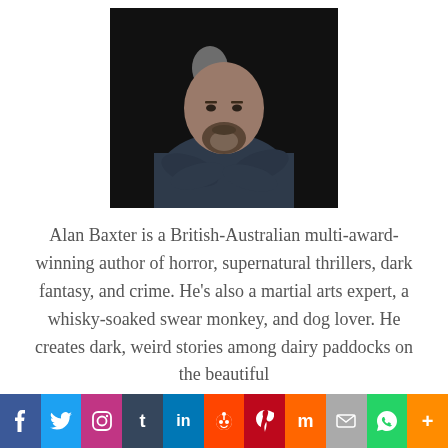[Figure (photo): Bald man with beard, arms crossed, wearing dark sweater, against a dark background with a faint skull-like shape visible behind him.]
Alan Baxter is a British-Australian multi-award-winning author of horror, supernatural thrillers, dark fantasy, and crime. He’s also a martial arts expert, a whisky-soaked swear monkey, and dog lover. He creates dark, weird stories among dairy paddocks on the beautiful